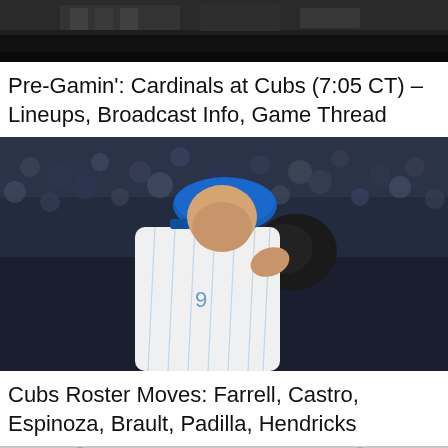[Figure (photo): Partial view of a baseball stadium, dark background with equipment visible at top]
Pre-Gamin': Cardinals at Cubs (7:05 CT) – Lineups, Broadcast Info, Game Thread
[Figure (photo): Chicago Cubs pitcher in white pinstripe uniform and blue cap, looking down at glove, crowd in background]
Cubs Roster Moves: Farrell, Castro, Espinoza, Brault, Padilla, Hendricks
[Figure (photo): Partial view of Wrigley Field outfield wall with ivy and green fence, crowd visible at top]